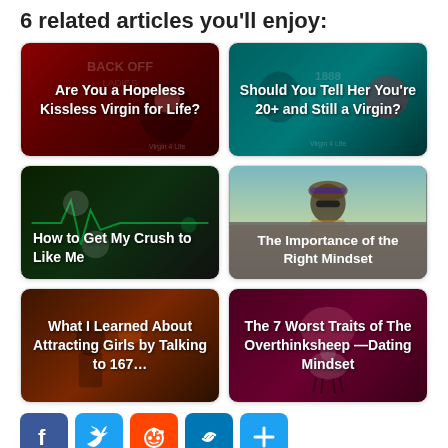6 related articles you'll enjoy:
[Figure (illustration): Article thumbnail with red/dark background and text overlay: Are You a Hopeless Kissless Virgin for Life?]
[Figure (illustration): Article thumbnail with teal/dark background and text overlay: Should You Tell Her You're 20+ and Still a Virgin?]
[Figure (illustration): Article thumbnail with dark green/black background showing heartbeat graphic and text overlay: How to Get My Crush to Like Me]
[Figure (photo): Article thumbnail with photo of person with long hair and sunglasses, gray overlay at bottom: The Importance of the Right Mindset]
[Figure (illustration): Article thumbnail with dark brown/orange background and text overlay: What I Learned About Attracting Girls by Talking to 167...]
[Figure (illustration): Article thumbnail with dark maroon background and text overlay: The 7 Worst Traits of The Overthinksheep — Dating Mindset]
[Figure (infographic): Social sharing buttons: Facebook (blue), Twitter (blue), Reddit (orange-red), Link (blue), More (blue)]